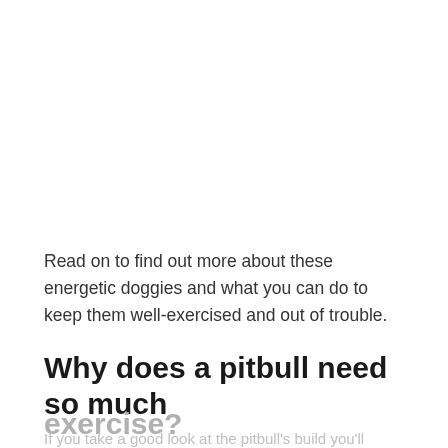Read on to find out more about these energetic doggies and what you can do to keep them well-exercised and out of trouble.
Why does a pitbull need so much exercise?
If you take a good look at the pitbull's build you'll